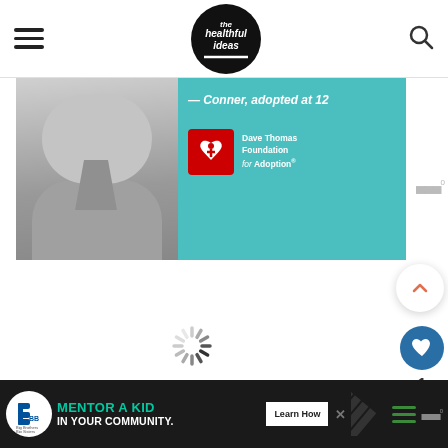the healthful ideas — navigation header with hamburger menu and search icon
[Figure (photo): Advertisement banner for Dave Thomas Foundation for Adoption: photo of a young person in grey polo shirt with text '— Conner, adopted at 12' and Dave Thomas Foundation for Adoption logo on teal background]
[Figure (other): Loading spinner animation in center of page]
[Figure (other): Scroll-to-top arrow button (chevron up) on right side]
[Figure (other): Like/heart button (blue circle with heart icon) on right side, with count of 1 below]
[Figure (other): Share button on right side]
[Figure (other): Bottom advertisement bar: Big Brothers Big Sisters 'Mentor a Kid in Your Community' ad with Learn How button and close X]